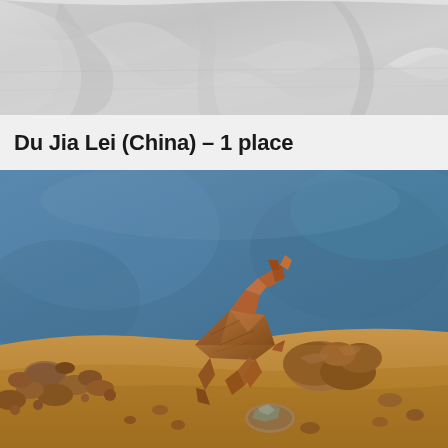[Figure (photo): Top portion of a photo showing crumpled or draped light grey/white fabric or cloth background, partially cropped.]
Du Jia Lei (China) – 1 place
[Figure (photo): Photo of an origami animal figure (appears to be a goat or deer) made from brown textured paper/leaf material, posed on a sandy surface with pebbles and rocks. The background is a mottled blue surface. The scene is arranged like a diorama with multiple small rocks and pebbles around the origami figure.]